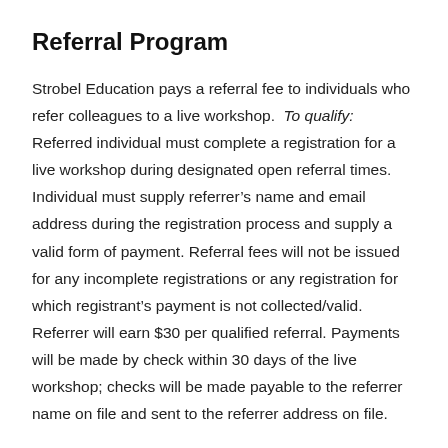Referral Program
Strobel Education pays a referral fee to individuals who refer colleagues to a live workshop. To qualify: Referred individual must complete a registration for a live workshop during designated open referral times. Individual must supply referrer's name and email address during the registration process and supply a valid form of payment. Referral fees will not be issued for any incomplete registrations or any registration for which registrant's payment is not collected/valid. Referrer will earn $30 per qualified referral. Payments will be made by check within 30 days of the live workshop; checks will be made payable to the referrer name on file and sent to the referrer address on file.